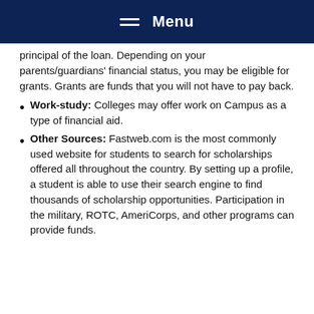Menu
principal of the loan. Depending on your parents/guardians' financial status, you may be eligible for grants. Grants are funds that you will not have to pay back.
Work-study: Colleges may offer work on Campus as a type of financial aid.
Other Sources: Fastweb.com is the most commonly used website for students to search for scholarships offered all throughout the country. By setting up a profile, a student is able to use their search engine to find thousands of scholarship opportunities. Participation in the military, ROTC, AmeriCorps, and other programs can provide funds.